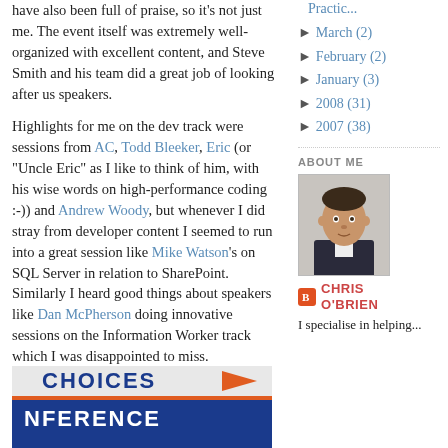have also been full of praise, so it's not just me. The event itself was extremely well-organized with excellent content, and Steve Smith and his team did a great job of looking after us speakers.
Highlights for me on the dev track were sessions from AC, Todd Bleeker, Eric (or "Uncle Eric" as I like to think of him, with his wise words on high-performance coding :-)) and Andrew Woody, but whenever I did stray from developer content I seemed to run into a great session like Mike Watson's on SQL Server in relation to SharePoint. Similarly I heard good things about speakers like Dan McPherson doing innovative sessions on the Information Worker track which I was disappointed to miss. [UPDATE: Here's a gratuitous shot of me in my session:]
Practic...
March (2)
February (2)
January (3)
2008 (31)
2007 (38)
ABOUT ME
[Figure (photo): Headshot photo of Chris O'Brien, a man in a suit jacket against a light background]
CHRIS O'BRIEN
I specialise in helping...
[Figure (photo): Bottom of page: partial conference banner image showing text 'CHOICES' and 'NFERENCE' in blue/white with an orange arrow, on a blue background]